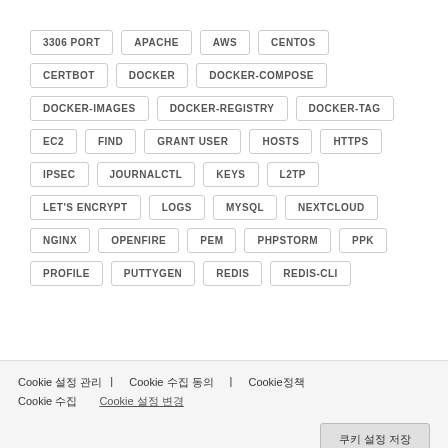3306 PORT
APACHE
AWS
CENTOS
CERTBOT
DOCKER
DOCKER-COMPOSE
DOCKER-IMAGES
DOCKER-REGISTRY
DOCKER-TAG
EC2
FIND
GRANT USER
HOSTS
HTTPS
IPSEC
JOURNALCTL
KEYS
L2TP
LET'S ENCRYPT
LOGS
MYSQL
NEXTCLOUD
NGINX
OPENFIRE
PEM
PHPSTORM
PPK
PROFILE
PUTTYGEN
REDIS
REDIS-CLI
Cookie 설정 관리 | Cookie 수집 동의 | Cookie정책 | Cookie 수집 쿠키 설정 변경
쿠키 설정 저장